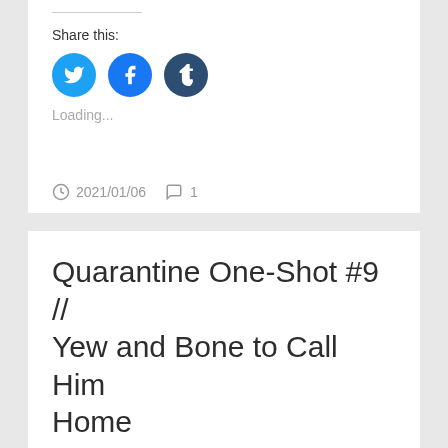Share this:
[Figure (infographic): Three social media share buttons: Twitter (blue bird icon), Facebook (blue f icon), Tumblr (dark blue t icon)]
Loading...
2021/01/06  1
Quarantine One-Shot #9 // Yew and Bone to Call Him Home
[Figure (photo): Partial thumbnail image with dark navy and golden/tan colors]